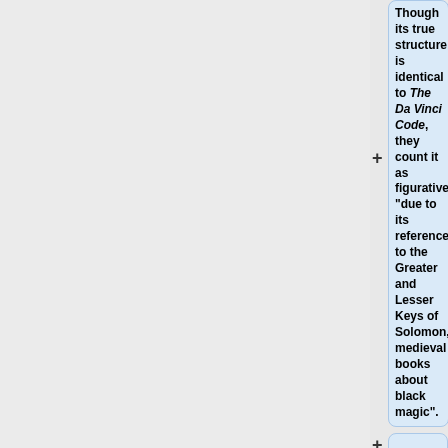Though its true structure is identical to <em>The Da Vinci Code</em>, they count it as figurative "due to its reference to the Greater and Lesser Keys of Solomon, medieval books about black magic".
===Questions===
* What justification is